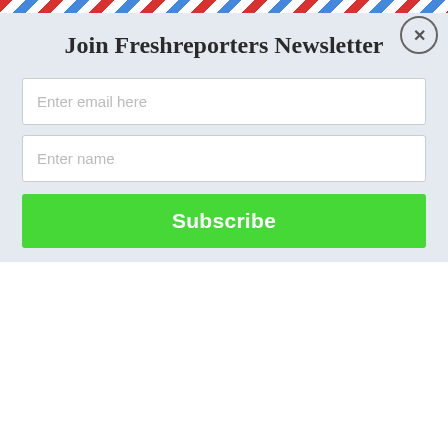Join Freshreporters Newsletter
Enter email here
Enter name
Subscribe
Group Of Armed Men Beat Victim To Death In Lagos
Benjamin Osei – August 29, 2022
[Figure (photo): News article thumbnail showing blurred figures outdoors]
Nigeria Police Arrests 'Army Captain' For Armed Robbery In Lagos
[Figure (photo): News article thumbnail with close button overlay, showing blurred outdoor scene]